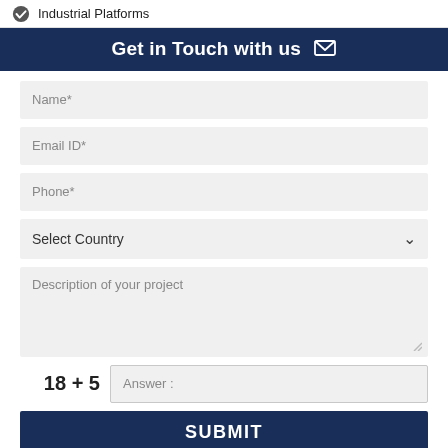Industrial Platforms
Get in Touch with us
Name*
Email ID*
Phone*
Select Country
Description of your project
18 + 5  Answer :
SUBMIT